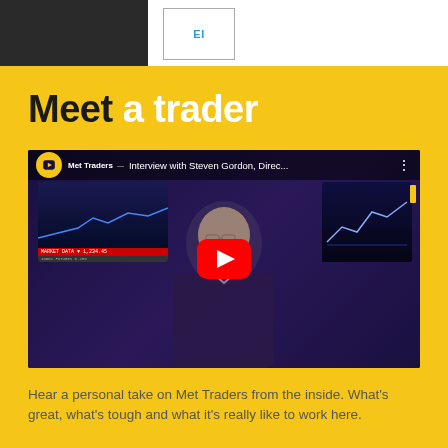Met Traders
Meet a trader
[Figure (screenshot): YouTube video thumbnail showing a man in a dark sweater standing in a trading office. Title bar reads 'Interview with Steven Gordon, Direc...' with Met Traders channel logo. Red YouTube play button centered on video.]
Hear a personal take on Met Traders from the inside. What's great, what's tough and what it's really like to work here.